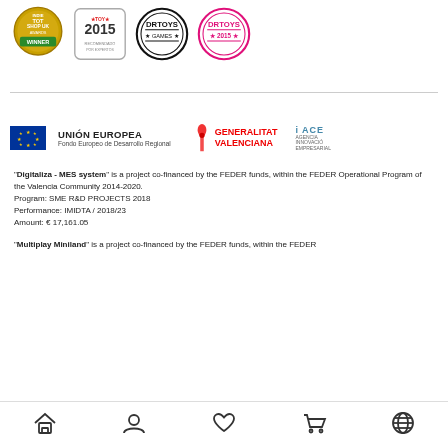[Figure (logo): Four award badge logos: Indie Toy Shop UK Winner, TOY 2015, DR TOYS Games, DR TOYS 2015]
[Figure (logo): EU logos: UNIÓN EUROPEA Fondo Europeo de Desarrollo Regional, Generalitat Valenciana, i ACE]
"Digitaliza - MES system" is a project co-financed by the FEDER funds, within the FEDER Operational Program of the Valencia Community 2014-2020. Program: SME R&D PROJECTS 2018 Performance: IMIDTA / 2018/23 Amount: € 17,161.05
"Multiplay Miniland" is a project co-financed by the FEDER funds, within the FEDER
[Figure (other): Bottom navigation bar with home, user, heart, cart, globe icons]